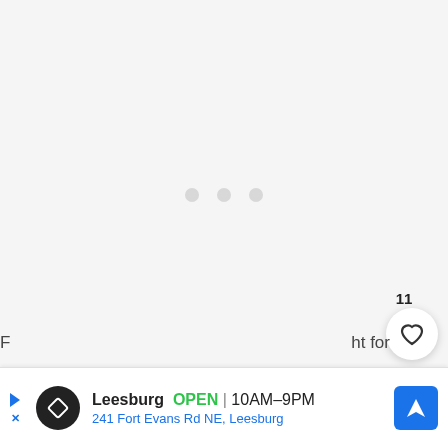[Figure (screenshot): Loading spinner area with three light gray dots centered on a light gray background]
[Figure (other): Like/favorite button with count 11 and a circular white button with heart icon, plus a black circular search/magnify button]
[Figure (other): Advertisement banner for Leesburg store: black circle logo with diamond shape, store name 'Leesburg', green 'OPEN', hours '10AM-9PM', address '241 Fort Evans Rd NE, Leesburg', blue navigation arrow button. Partially visible text on left and right edges.]